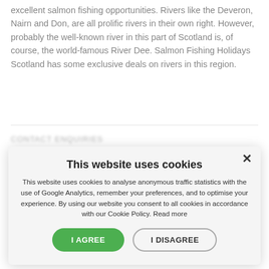excellent salmon fishing opportunities. Rivers like the Deveron, Nairn and Don, are all prolific rivers in their own right. However, probably the well-known river in this part of Scotland is, of course, the world-famous River Dee. Salmon Fishing Holidays Scotland has some exclusive deals on rivers in this region.
This website uses cookies
This website uses cookies to analyse anonymous traffic statistics with the use of Google Analytics, remember your preferences, and to optimise your experience. By using our website you consent to all cookies in accordance with our Cookie Policy. Read more
I AGREE
I DISAGREE